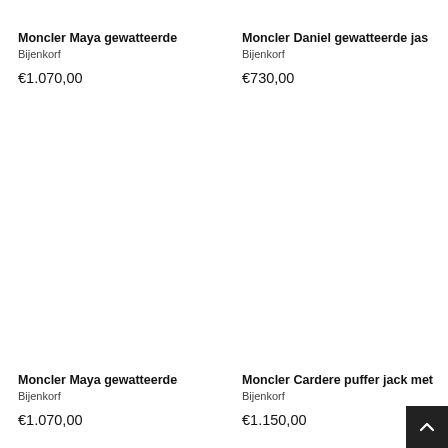Moncler Maya gewatteerde
Bijenkorf
€1.070,00
Moncler Daniel gewatteerde jas
Bijenkorf
€730,00
Moncler Maya gewatteerde
Bijenkorf
€1.070,00
Moncler Cardere puffer jack met
Bijenkorf
€1.150,00